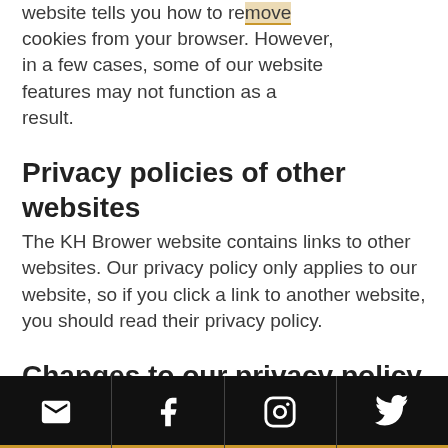website tells you how to remove cookies from your browser. However, in a few cases, some of our website features may not function as a result.
Privacy policies of other websites
The KH Brower website contains links to other websites. Our privacy policy only applies to our website, so if you click a link to another website, you should read their privacy policy.
Changes to our privacy policy
KH Brower keeps its privacy policy
[email icon] [facebook icon] [instagram icon] [twitter icon]